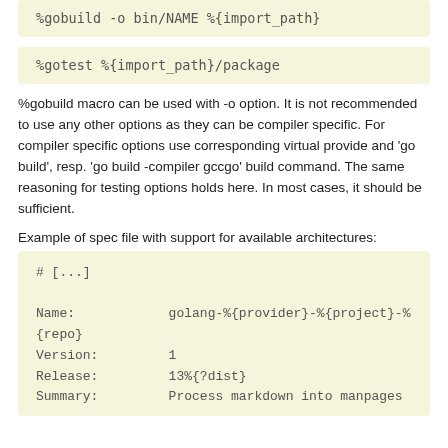%gobuild -o bin/NAME %{import_path}
%gotest %{import_path}/package
%gobuild macro can be used with -o option. It is not recommended to use any other options as they can be compiler specific. For compiler specific options use corresponding virtual provide and 'go build', resp. 'go build -compiler gccgo' build command. The same reasoning for testing options holds here. In most cases, it should be sufficient.
Example of spec file with support for available architectures:
# [...]

Name:            golang-%{provider}-%{project}-%{repo}
Version:         1
Release:         13%{?dist}
Summary:         Process markdown into manpages